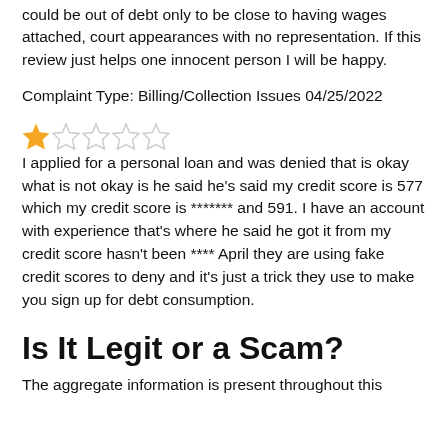could be out of debt only to be close to having wages attached, court appearances with no representation. If this review just helps one innocent person I will be happy.
Complaint Type: Billing/Collection Issues 04/25/2022
[Figure (other): 1 out of 5 stars rating — one filled gold star followed by four empty stars]
I applied for a personal loan and was denied that is okay what is not okay is he said he's said my credit score is 577 which my credit score is ******* and 591. I have an account with experience that's where he said he got it from my credit score hasn't been **** April they are using fake credit scores to deny and it's just a trick they use to make you sign up for debt consumption.
Is It Legit or a Scam?
The aggregate information is present throughout this